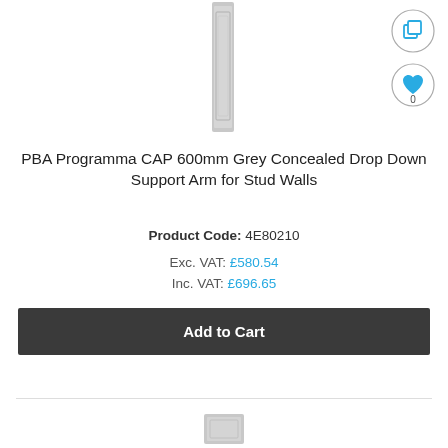[Figure (photo): Grey concealed drop down support arm product image, tall vertical bracket, light grey color]
[Figure (other): Copy/duplicate icon button circle with square-on-square icon in blue outline]
[Figure (other): Heart/favorites icon button circle with blue filled heart and number 0 below]
PBA Programma CAP 600mm Grey Concealed Drop Down Support Arm for Stud Walls
Product Code: 4E80210
Exc. VAT: £580.54
Inc. VAT: £696.65
Add to Cart
[Figure (photo): Second product image partially visible at bottom of page, small grey bracket product]